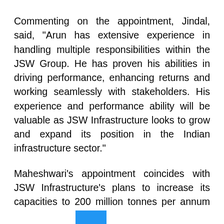Commenting on the appointment, Jindal, said, "Arun has extensive experience in handling multiple responsibilities within the JSW Group. He has proven his abilities in driving performance, enhancing returns and working seamlessly with stakeholders. His experience and performance ability will be valuable as JSW Infrastructure looks to grow and expand its position in the Indian infrastructure sector."
Maheshwari's appointment coincides with JSW Infrastructure's plans to increase its capacities to 200 million tonnes per annum (MTPA) by 20[obscured] with a view to focus on grasping cargo trade opportunities in India and internationally. JSW Infrastructure currently operates ports and terminals...